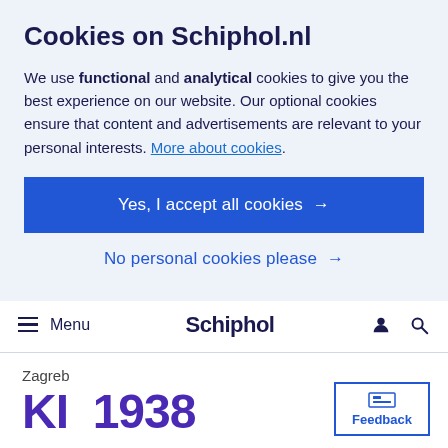Cookies on Schiphol.nl
We use functional and analytical cookies to give you the best experience on our website. Our optional cookies ensure that content and advertisements are relevant to your personal interests. More about cookies.
Yes, I accept all cookies →
No personal cookies please →
≡ Menu  Schiphol
Zagreb
KL 1938